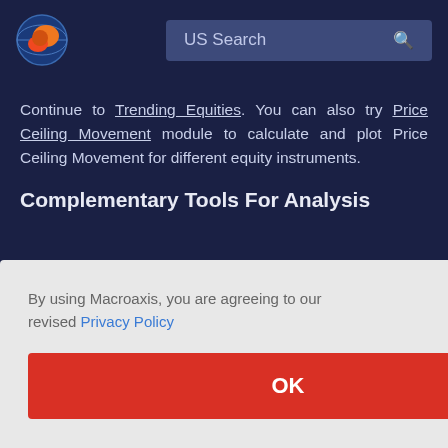US Search
Continue to Trending Equities. You can also try Price Ceiling Movement module to calculate and plot Price Ceiling Movement for different equity instruments.
Complementary Tools For Analysis
By using Macroaxis, you are agreeing to our revised Privacy Policy
OK
Bancirst Corp's Value Examination Focuses on Studying